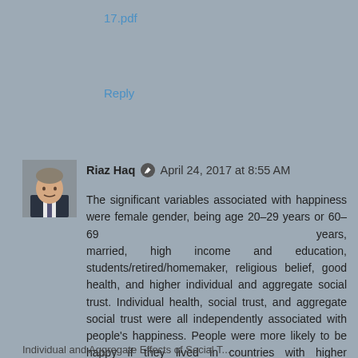17.pdf
Reply
Riaz Haq • April 24, 2017 at 8:55 AM
The significant variables associated with happiness were female gender, being age 20–29 years or 60–69 years, married, high income and education, students/retired/homemaker, religious belief, good health, and higher individual and aggregate social trust. Individual health, social trust, and aggregate social trust were all independently associated with people’s happiness. People were more likely to be happy if they lived in countries with higher aggregate social trust than countries with poor social trust.
Do you want to read the rest of this chapter?Request full-text
Individual and Aggregate Effects of Social T...